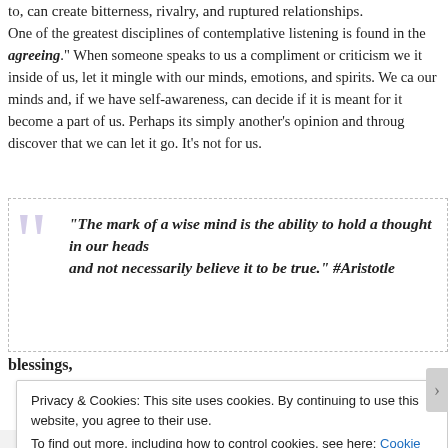to, can create bitterness, rivalry, and ruptured relationships.
One of the greatest disciplines of contemplative listening is found in the agreeing. When someone speaks to us a compliment or criticism we it inside of us, let it mingle with our minds, emotions, and spirits. We can our minds and, if we have self-awareness, can decide if it is meant for it become a part of us. Perhaps its simply another's opinion and through discover that we can let it go. It's not for us.
[Figure (other): Pull quote box with decorative quotation mark: "The mark of a wise mind is the ability to hold a thought in our heads and not necessarily believe it to be true." #Aristotle]
blessings,
Privacy & Cookies: This site uses cookies. By continuing to use this website, you agree to their use. To find out more, including how to control cookies, see here: Cookie Policy